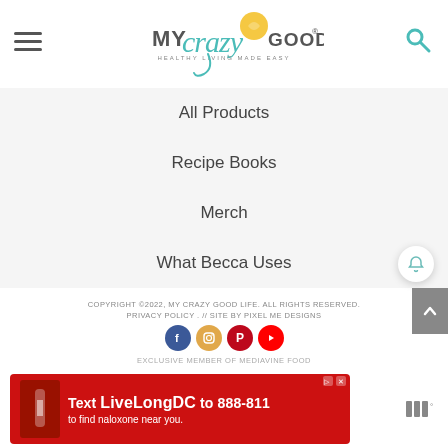[Figure (logo): My Crazy Good Life logo with lemon graphic and tagline 'Healthy Living Made Easy']
All Products
Recipe Books
Merch
What Becca Uses
COPYRIGHT ©2022, MY CRAZY GOOD LIFE. ALL RIGHTS RESERVED. PRIVACY POLICY . // SITE BY PIXEL ME DESIGNS
[Figure (logo): Social media icons: Facebook, Instagram, Pinterest, YouTube]
EXCLUSIVE MEMBER OF MEDIAVINE FOOD
[Figure (photo): Advertisement banner: Text LiveLongDC to 888-811 to find naloxone near you]